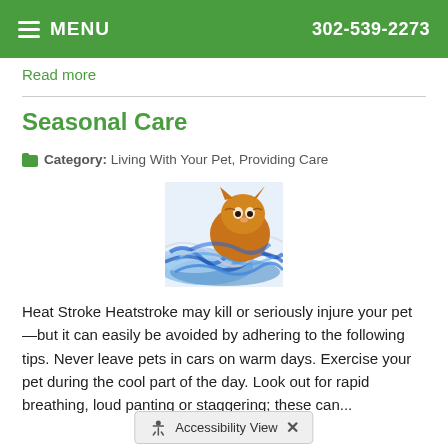MENU   302-539-2273
Read more
Seasonal Care
Category: Living With Your Pet, Providing Care
[Figure (photo): A cat playing with blue and silver holiday tinsel/garland on a white background]
Heat Stroke Heatstroke may kill or seriously injure your pet—but it can easily be avoided by adhering to the following tips. Never leave pets in cars on warm days. Exercise your pet during the cool part of the day. Look out for rapid breathing, loud panting or staggering; these can...